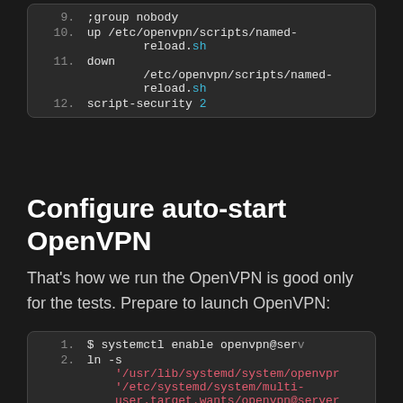[Figure (screenshot): Code block showing lines 9-12 of OpenVPN config: ;group nobody, up /etc/openvpn/scripts/named-reload.sh, down /etc/openvpn/scripts/named-reload.sh, script-security 2]
Configure auto-start OpenVPN
That’s how we run the OpenVPN is good only for the tests. Prepare to launch OpenVPN:
[Figure (screenshot): Code block showing lines 1-2: $ systemctl enable openvpn@ser..., ln -s '/usr/lib/systemd/system/openvpn...' '/etc/systemd/system/multi-user.target.wants/openvpn@server...']